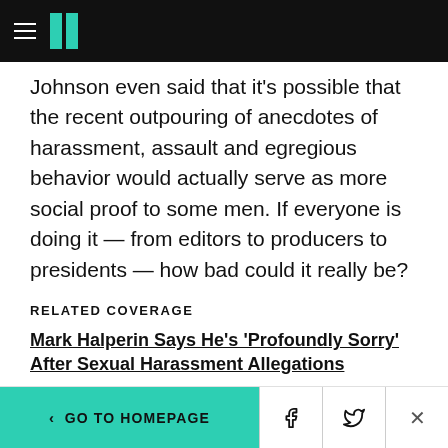HuffPost navigation
Johnson even said that it's possible that the recent outpouring of anecdotes of harassment, assault and egregious behavior would actually serve as more social proof to some men. If everyone is doing it — from editors to producers to presidents — how bad could it really be?
RELATED COVERAGE
Mark Halperin Says He's 'Profoundly Sorry' After Sexual Harassment Allegations
Over 300 Women Chime In After L.A. Times Details Director's Sex Abuse Reputation
< GO TO HOMEPAGE